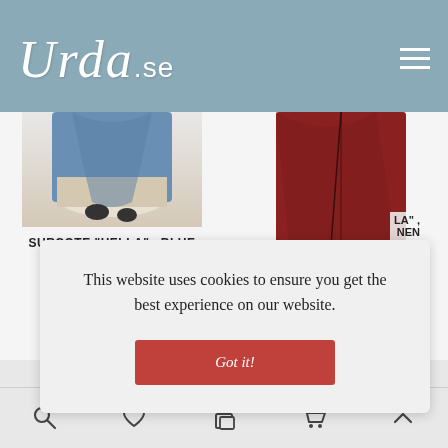[Figure (logo): Urda.se website logo in white italic script on a steel-blue/grayish-blue header background, with hamburger menu icon on the right]
[Figure (photo): Partial product photo of a blue and white garment (surcote Hella in blue linen) on left side, and partial photo of a dark red/burgundy garment on the right side]
SURCOTE "HELLA" , BLUE LINEN
690 kr
LA" , NEN
This website uses cookies to ensure you get the best experience on our website.
Got it!
[Figure (screenshot): Bottom navigation bar with search, heart/wishlist, bag/cart, shopping cart, and up-arrow icons]